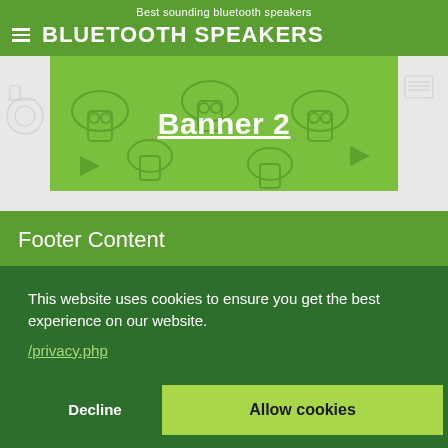Best sounding bluetooth speakers
BLUETOOTH SPEAKERS
[Figure (illustration): Green banner with decorative speaker/food icons in the background and bold white underlined text 'Banner 2' centered on it]
Footer Content
This website uses cookies to ensure you get the best experience on our website.
/privacy.php
Decline
Allow cookies
Disclaimer
Terms & Conditions